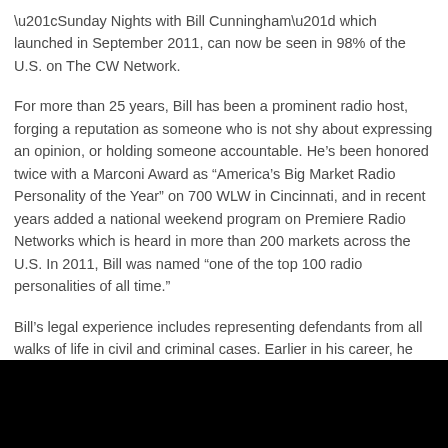“Sunday Nights with Bill Cunningham” which launched in September 2011, can now be seen in 98% of the U.S. on The CW Network.
For more than 25 years, Bill has been a prominent radio host, forging a reputation as someone who is not shy about expressing an opinion, or holding someone accountable. He’s been honored twice with a Marconi Award as “America’s Big Market Radio Personality of the Year” on 700 WLW in Cincinnati, and in recent years added a national weekend program on Premiere Radio Networks which is heard in more than 200 markets across the U.S. In 2011, Bill was named “one of the top 100 radio personalities of all time.”
Bill’s legal experience includes representing defendants from all walks of life in civil and criminal cases. Earlier in his career, he